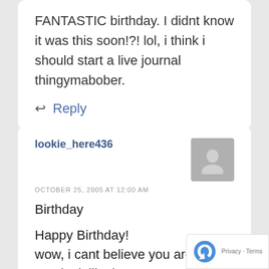FANTASTIC birthday. I didnt know it was this soon!?! lol, i think i should start a live journal thingymabober.
Reply
lookie_here436
OCTOBER 25, 2005 AT 12:00 AM
Birthday
Happy Birthday!
wow, i cant believe you are 44?!? You look like in your 30's! I am